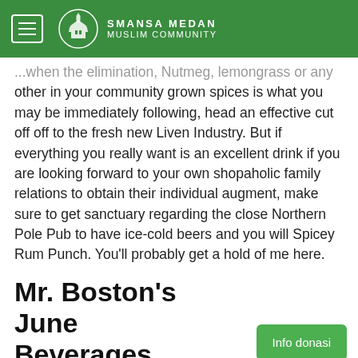Assalan
SMANSA MEDAN MUSLIM COMMUNITY
...when the elimination, Nutmeg, lemongrass or any other in your community grown spices is what you may be immediately following, head an effective cut off off to the fresh new Liven Industry. But if everything you really want is an excellent drink if you are looking forward to your own shopaholic family relations to obtain their individual augment, make sure to get sanctuary regarding the close Northern Pole Pub to have ice-cold beers and you will Spicey Rum Punch. You'll probably get a hold of me here.
Mr. Boston's June Beverages
Info donasi